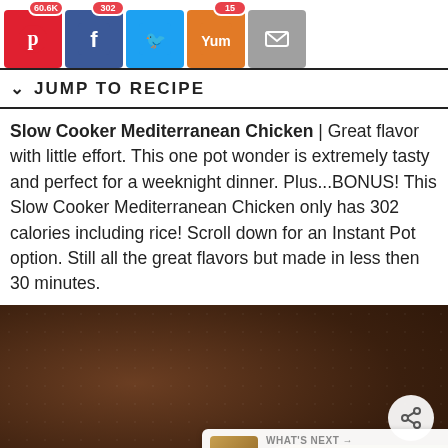[Figure (screenshot): Social media share buttons row: Pinterest (60.6K), Facebook (302), Twitter, Yummly (15), Email]
JUMP TO RECIPE
Slow Cooker Mediterranean Chicken | Great flavor with little effort.  This one pot wonder is extremely tasty and perfect for a weeknight dinner.  Plus...BONUS!  This Slow Cooker Mediterranean Chicken only has 302 calories including rice!  Scroll down for an Instant Pot option.  Still all the great flavors but made in less then 30 minutes.
[Figure (photo): Dark brown textured background photo of Slow Cooker Mediterranean Chicken dish, with food visible at bottom right corner. Includes a share button and a 'What's Next' overlay showing 'Buffet Pancake...']